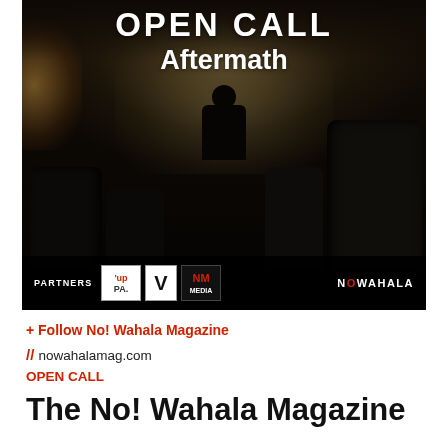[Figure (photo): Dark interior of a bus/minivan at night, silhouette of a person in front, city lights visible through windshield, dark seats in foreground. Overlaid text reads 'OPEN CALL' and 'Aftermath'. Bottom bar shows PARTNERS logos: UP PA, V, NM MEDIA, and NOWAHALA logo on right.]
+ Follow No! Wahala Magazine
// nowahalamag.com
OPEN CALL
The No! Wahala Magazine